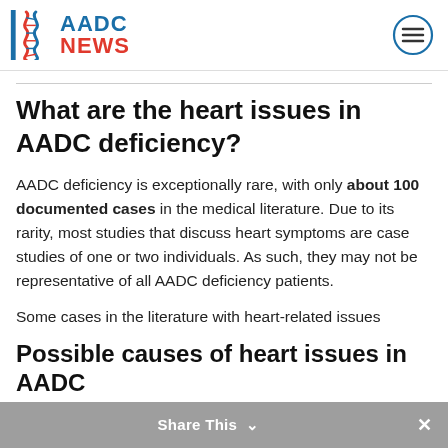AADC NEWS
What are the heart issues in AADC deficiency?
AADC deficiency is exceptionally rare, with only about 100 documented cases in the medical literature. Due to its rarity, most studies that discuss heart symptoms are case studies of one or two individuals. As such, they may not be representative of all AADC deficiency patients.
Some cases in the literature with heart-related issues include one patient with bradycardia (slower than normal heart rate) and a patient, age 9, who had a heart attack.
Possible causes of heart issues in AADC